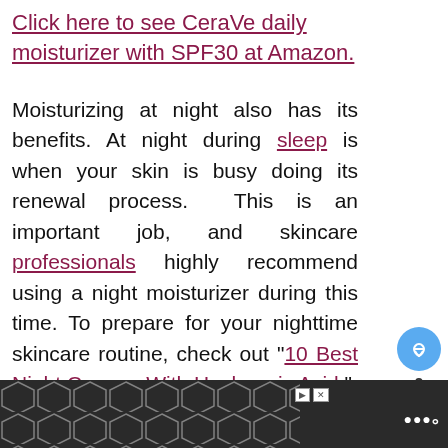Click here to see CeraVe daily moisturizer with SPF30 at Amazon.
Moisturizing at night also has its benefits. At night during sleep is when your skin is busy doing its renewal process. This is an important job, and skincare professionals highly recommend using a night moisturizer during this time. To prepare for your nighttime skincare routine, check out "10 Best Night Creams With Hyaluronic Acid."
[Figure (photo): Silver/chrome round cream jar product photo at bottom of page]
[Figure (photo): What's Next thumbnail - Should You Wash Off...]
[Figure (other): Advertisement bar at the bottom with geometric pattern]